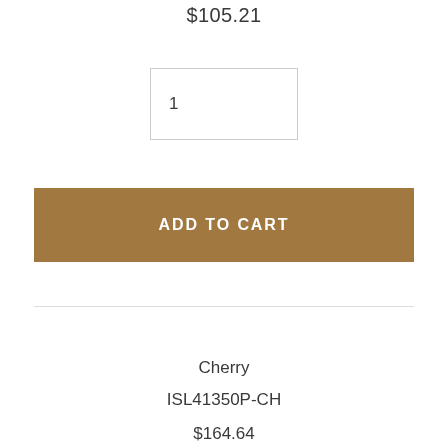$105.21
1
ADD TO CART
Cherry
ISL41350P-CH
$164.64